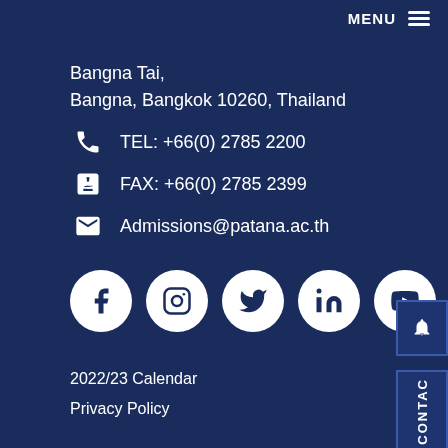MENU ≡
Bangna Tai,
Bangna, Bangkok 10260, Thailand
TEL: +66(0) 2785 2200
FAX: +66(0) 2785 2399
Admissions@patana.ac.th
[Figure (infographic): Social media icons row: Facebook, Instagram, Twitter, LinkedIn, YouTube — each in a white circle on dark navy background]
2022/23 Calendar
Privacy Policy